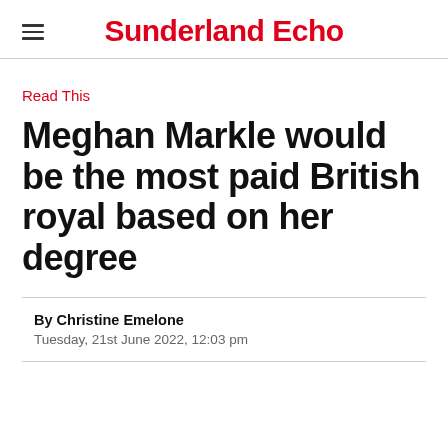Sunderland Echo
Read This
Meghan Markle would be the most paid British royal based on her degree
By Christine Emelone
Tuesday, 21st June 2022, 12:03 pm